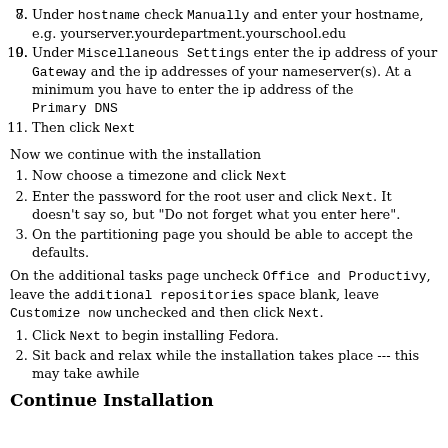7. Under hostname check Manually and enter your hostname, e.g. yourserver.yourdepartment.yourschool.edu
8. Under Miscellaneous Settings enter the ip address of your Gateway and the ip addresses of your nameserver(s). At a minimum you have to enter the ip address of the Primary DNS
9. Then click Next
Now we continue with the installation
1. Now choose a timezone and click Next
2. Enter the password for the root user and click Next. It doesn't say so, but "Do not forget what you enter here".
3. On the partitioning page you should be able to accept the defaults.
On the additional tasks page uncheck Office and Productivy, leave the additional repositories space blank, leave Customize now unchecked and then click Next.
1. Click Next to begin installing Fedora.
2. Sit back and relax while the installation takes place --- this may take awhile
Continue Installation